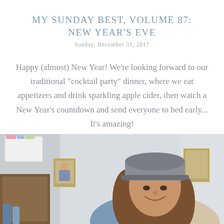MY SUNDAY BEST, VOLUME 87: NEW YEAR'S EVE
Sunday, December 31, 2017
Happy (almost) New Year! We're looking forward to our traditional "cocktail party" dinner, where we eat appetizers and drink sparkling apple cider, then watch a New Year's countdown and send everyone to bed early... It's amazing!
[Figure (photo): A smiling young woman wearing a grey knit cap and light scarf, standing indoors with religious icons and kitchen items visible in the background.]